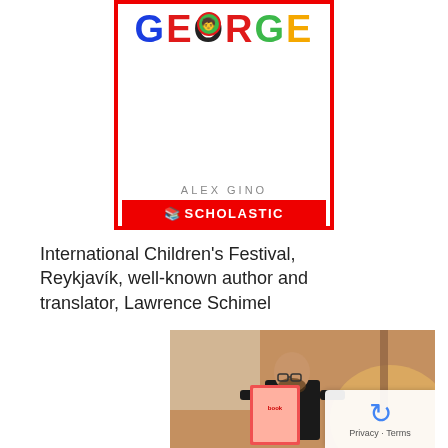[Figure (illustration): Book cover of 'George' by Alex Gino, published by Scholastic. The title GEORGE is displayed in large multicolored letters with a small face illustration in the O. Below the title is 'ALEX GINO' and a red Scholastic logo bar at the bottom. The cover has a red border.]
International Children's Festival, Reykjavík, well-known author and translator, Lawrence Schimel
[Figure (photo): Photo of Lawrence Schimel speaking at an event, holding up a colorful book. He is bearded, wearing a black shirt. Warm lamp light is visible in the background. A reCAPTCHA privacy badge is visible in the bottom right corner.]